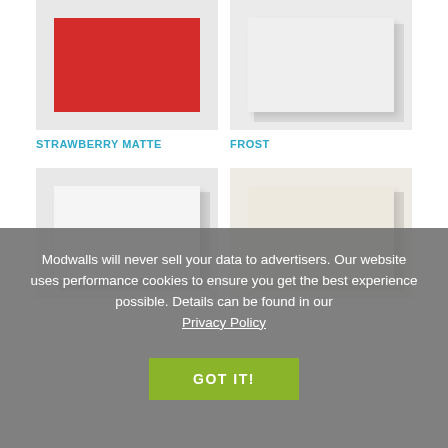[Figure (photo): Red/strawberry matte tile swatch on light gray background]
STRAWBERRY MATTE
[Figure (photo): White frost tile swatch with shadow on light gray background]
FROST
[Figure (photo): White tile swatch with shadow on light gray background]
[Figure (photo): Ivory/cream tile swatch with shadow on warm gray background]
Modwalls will never sell your data to advertisers. Our website uses performance cookies to ensure you get the best experience possible. Details can be found in our Privacy Policy
GOT IT!